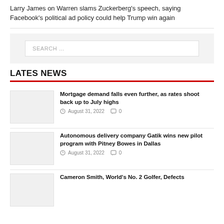Larry James on Warren slams Zuckerberg's speech, saying Facebook's political ad policy could help Trump win again
LATES NEWS
Mortgage demand falls even further, as rates shoot back up to July highs — August 31, 2022 · 0
Autonomous delivery company Gatik wins new pilot program with Pitney Bowes in Dallas — August 31, 2022 · 0
Cameron Smith, World's No. 2 Golfer, Defects